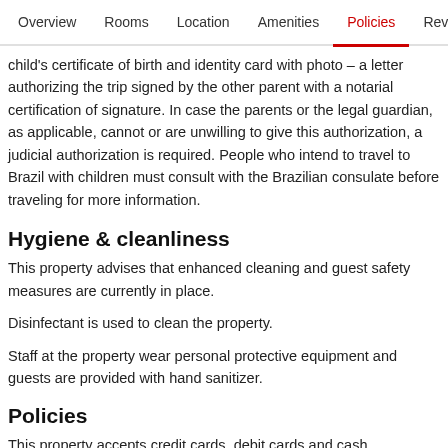Overview  Rooms  Location  Amenities  Policies  Reviews
child's certificate of birth and identity card with photo – a letter authorizing the trip signed by the other parent with a notarial certification of signature. In case the parents or the legal guardian, as applicable, cannot or are unwilling to give this authorization, a judicial authorization is required. People who intend to travel to Brazil with children must consult with the Brazilian consulate before traveling for more information.
Hygiene & cleanliness
This property advises that enhanced cleaning and guest safety measures are currently in place.
Disinfectant is used to clean the property.
Staff at the property wear personal protective equipment and guests are provided with hand sanitizer.
Policies
This property accepts credit cards, debit cards and cash.